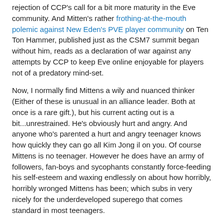rejection of CCP's call for a bit more maturity in the Eve community.  And Mitten's rather frothing-at-the-mouth polemic against New Eden's PVE player community on Ten Ton Hammer, published just as the CSM7 summit began without him, reads as a declaration of war against any attempts by CCP to keep Eve online enjoyable for players not of a predatory mind-set.

Now,  I normally find Mittens a wily and nuanced thinker (Either of these is unusual in an alliance leader.  Both at once is a rare gift.), but his current acting out is a bit...unrestrained.  He's obviously hurt and angry.  And anyone who's parented a hurt and angry teenager knows how quickly they can go all Kim Jong il on you.  Of course Mittens is no teenager.  However he does have an army of followers, fan-boys and sycophants constantly force-feeding his self-esteem and waxing endlessly on about how horribly, horribly wronged Mittens has been; which subs in very nicely for the underdeveloped superego that comes standard in most teenagers.

So, this is how it looks from here:  Mittens is hurt.  Mittens